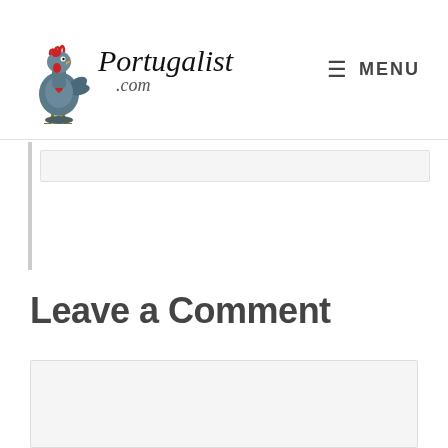Portugalist .com | MENU
[Figure (screenshot): Partial comment box from a previous section, showing a text input area with light gray border]
Leave a Comment
[Figure (screenshot): Comment text area input box, large empty light gray rectangle with border]